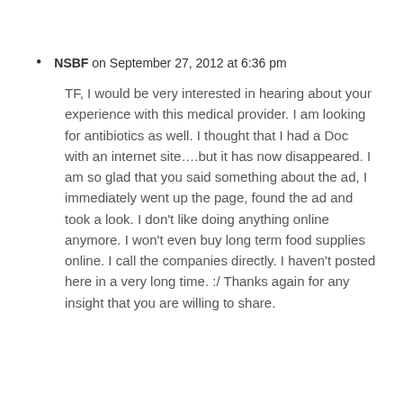NSBF on September 27, 2012 at 6:36 pm

TF, I would be very interested in hearing about your experience with this medical provider. I am looking for antibiotics as well. I thought that I had a Doc with an internet site....but it has now disappeared. I am so glad that you said something about the ad, I immediately went up the page, found the ad and took a look. I don't like doing anything online anymore. I won't even buy long term food supplies online. I call the companies directly. I haven't posted here in a very long time. :/ Thanks again for any insight that you are willing to share.